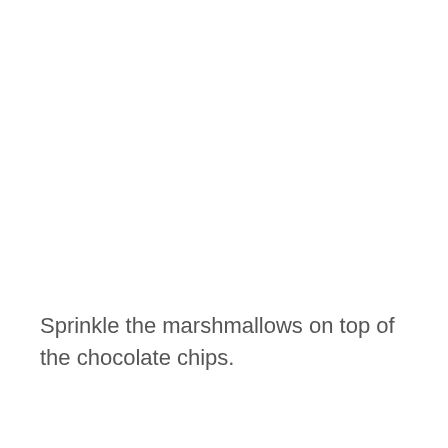Sprinkle the marshmallows on top of the chocolate chips.